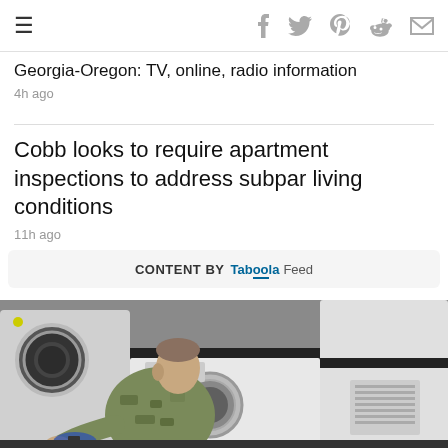Navigation and social share bar
Georgia-Oregon: TV, online, radio information
4h ago
Cobb looks to require apartment inspections to address subpar living conditions
11h ago
CONTENT BY Taboola Feed
[Figure (photo): Person in camouflage military uniform kneeling and loading laundry into a front-loading washing machine, with other white appliances in the background]